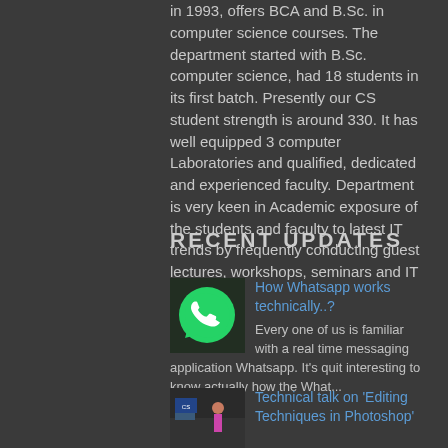in 1993, offers BCA and B.Sc. in computer science courses. The department started with B.Sc. computer science, had 18 students in its first batch. Presently our CS student strength is around 330. It has well equipped 3 computer Laboratories and qualified, dedicated and experienced faculty. Department is very keen in Academic exposure of the students and faculty to latest IT trends by frequently conducting guest lectures, workshops, seminars and IT fests etc.
RECENT UPDATES
[Figure (photo): WhatsApp application screen showing green WhatsApp logo on a phone]
How Whatsapp works technically..?
Every one of us is familiar with a real time messaging application Whatsapp. It's quit interesting to know actually how the What...
[Figure (photo): Technical talk event photo with presenter and audience]
Technical talk on 'Editing Techniques in Photoshop'